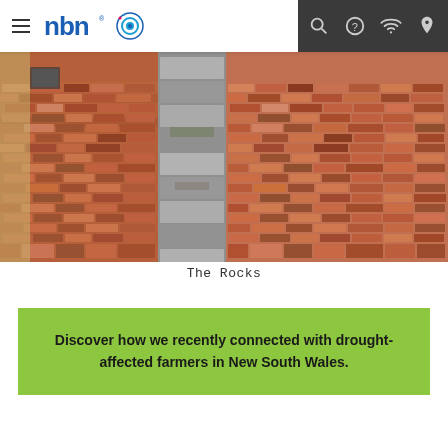nbn — navigation bar with menu, logo, search, help, wifi, location icons
[Figure (photo): Aerial/ground-level view of a cobblestone/brick paved area showing red-brown brick pavers on either side with a central channel of lighter grey stone pavers — The Rocks historic district in Sydney, Australia]
The Rocks
Discover how we recently connected with drought-affected farmers in New South Wales.